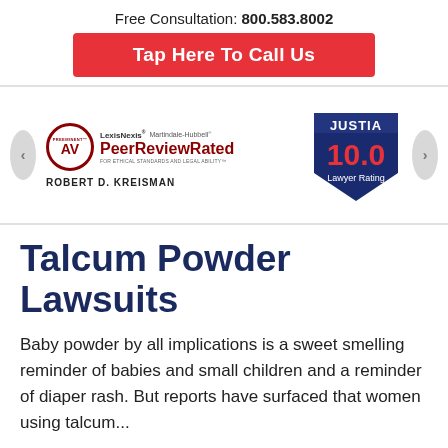Free Consultation: 800.583.8002
Tap Here To Call Us
[Figure (logo): AV Preeminent Peer Review Rated badge for Robert D. Kreisman from LexisNexis and Martindale-Hubbell]
[Figure (logo): Justia 10.0 Lawyer Rating badge]
Talcum Powder Lawsuits
Baby powder by all implications is a sweet smelling reminder of babies and small children and a reminder of diaper rash. But reports have surfaced that women using talcum...